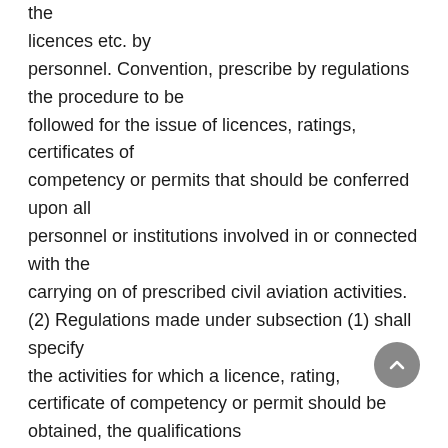the licences etc. by personnel. Convention, prescribe by regulations the procedure to be followed for the issue of licences, ratings, certificates of competency or permits that should be conferred upon all personnel or institutions involved in or connected with the carrying on of prescribed civil aviation activities. (2) Regulations made under subsection (1) shall specify the activities for which a licence, rating, certificate of competency or permit should be obtained, the qualifications and other requirements that should be satisfied